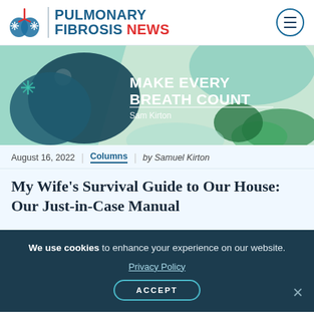PULMONARY FIBROSIS NEWS
[Figure (illustration): Banner image for 'Make Every Breath Count' column by Sam Kirton, featuring stylized lungs illustration with green and teal color scheme]
August 16, 2022 | Columns | by Samuel Kirton
My Wife’s Survival Guide to Our House: Our Just-in-Case Manual
We use cookies to enhance your experience on our website. Privacy Policy ACCEPT